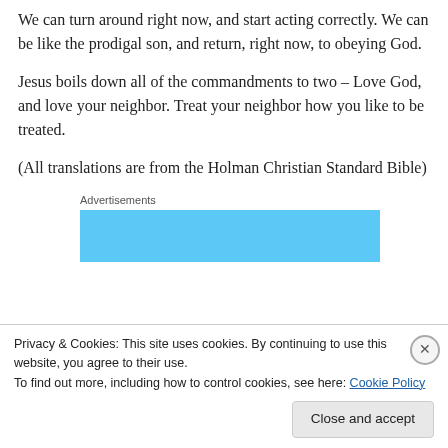We can turn around right now, and start acting correctly. We can be like the prodigal son, and return, right now, to obeying God.
Jesus boils down all of the commandments to two – Love God, and love your neighbor. Treat your neighbor how you like to be treated.
(All translations are from the Holman Christian Standard Bible)
[Figure (other): Advertisements banner placeholder — a solid light blue rectangle below an 'Advertisements' label]
Privacy & Cookies: This site uses cookies. By continuing to use this website, you agree to their use.
To find out more, including how to control cookies, see here: Cookie Policy
Close and accept